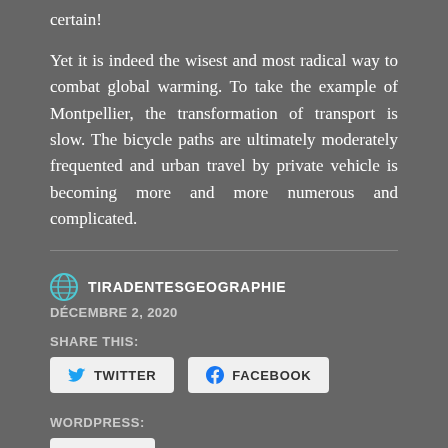certain!
Yet it is indeed the wisest and most radical way to combat global warming. To take the example of Montpellier, the transformation of transport is slow. The bicycle paths are ultimately moderately frequented and urban travel by private vehicle is becoming more and more numerous and complicated.
TIRADENTESGEOGRAPHIE
DÉCEMBRE 2, 2020
SHARE THIS:
[Figure (infographic): Twitter and Facebook share buttons]
WORDPRESS:
[Figure (infographic): J'aime (Like) button with star icon]
Soyez le premier à aimer cet article.